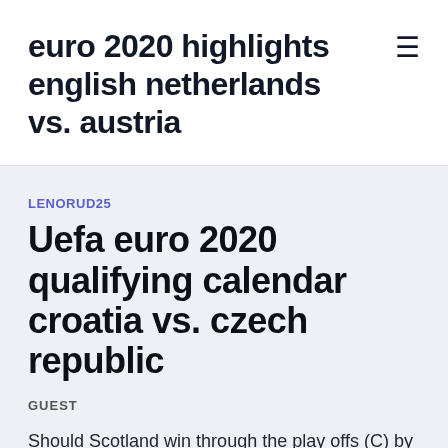euro 2020 highlights english netherlands vs. austria
LENORUD25
Uefa euro 2020 qualifying calendar croatia vs. czech republic
GUEST
Should Scotland win through the play offs (C) by